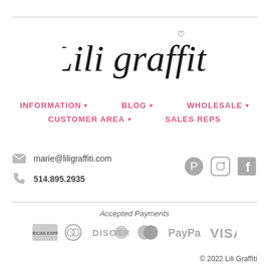[Figure (logo): Lili Graffiti script logo in black cursive font]
INFORMATION ▾   BLOG ▾   WHOLESALE ▾   CUSTOMER AREA ▾   SALES REPS
marie@liligraffiti.com
514.895.2935
[Figure (logo): Pinterest, Instagram, and Facebook social media icons in grey]
Accepted Payments
[Figure (logo): Payment icons: American Express, Diners Club, Discover, MasterCard, PayPal, VISA in grey]
© 2022 Lili Graffiti